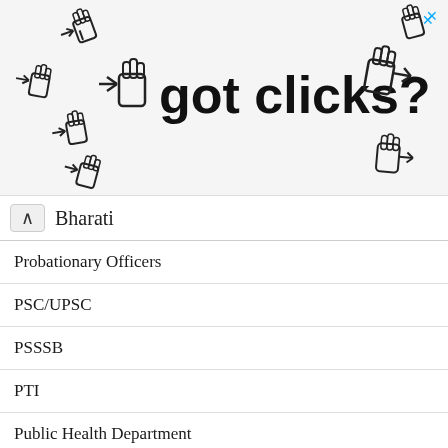[Figure (illustration): Advertisement banner with cursor/hand pointer icons and text 'got clicks?' with a close X button]
Bharati
Probationary Officers
PSC/UPSC
PSSSB
PTI
Public Health Department
Public Health Engineering Department
Public Service Commission
Public Works Department
Punjab & Sind Bank
Punjab National Bank